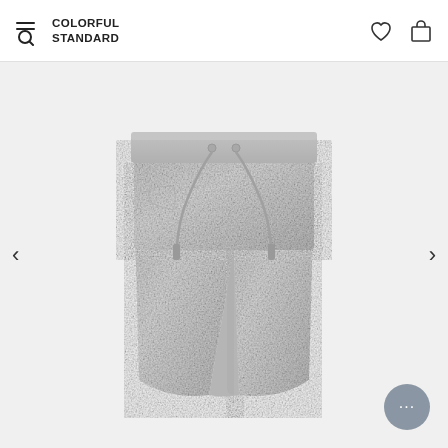COLORFUL STANDARD
[Figure (photo): Gray heathered sweatshorts with elastic waistband and drawstring, displayed on a light gray background. Previous and next navigation arrows on left and right sides.]